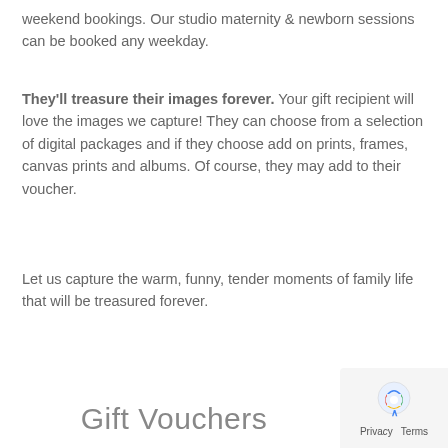weekend bookings. Our studio maternity & newborn sessions can be booked any weekday.
They'll treasure their images forever. Your gift recipient will love the images we capture! They can choose from a selection of digital packages and if they choose add on prints, frames, canvas prints and albums. Of course, they may add to their voucher.
Let us capture the warm, funny, tender moments of family life that will be treasured forever.
Gift Vouchers